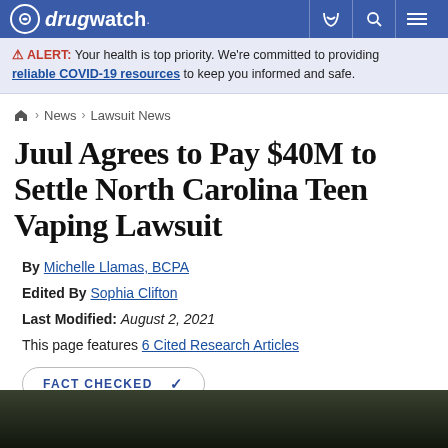drugwatch. [navigation bar with phone, search, and menu icons]
ALERT: Your health is top priority. We're committed to providing reliable COVID-19 resources to keep you informed and safe.
Home > News > Lawsuit News
Juul Agrees to Pay $40M to Settle North Carolina Teen Vaping Lawsuit
By Michelle Llamas, BCPA
Edited By Sophia Clifton
Last Modified: August 2, 2021
This page features 6 Cited Research Articles
FACT CHECKED ✓
[Figure (photo): Dark background photo, partially visible at the bottom of the page]